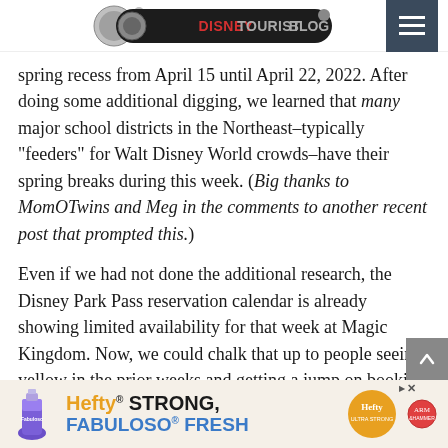DisneyTouristBlog
spring recess from April 15 until April 22, 2022. After doing some additional digging, we learned that many major school districts in the Northeast–typically “feeders” for Walt Disney World crowds–have their spring breaks during this week. (Big thanks to MomOTwins and Meg in the comments to another recent post that prompted this.)
Even if we had not done the additional research, the Disney Park Pass reservation calendar is already showing limited availability for that week at Magic Kingdom. Now, we could chalk that up to people seeing yellow in the prior weeks and getting a jump on booking reservations…but that’s doubtful. More likely, that entire week will also see 9/10 or 10/10 crowd levels at Walt Disne…
[Figure (other): Hefty / Fabuloso advertisement banner at bottom of page: 'Hefty STRONG, FABULOSO FRESH']